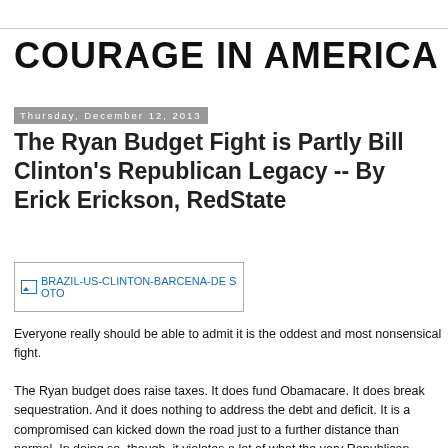COURAGE IN AMERICA
Thursday, December 12, 2013
The Ryan Budget Fight is Partly Bill Clinton's Republican Legacy -- By Erick Erickson, RedState
[Figure (photo): Image placeholder: BRAZIL-US-CLINTON-BARCENA-DE SOTO]
Everyone really should be able to admit it is the oddest and most nonsensical fight.
The Ryan budget does raise taxes. It does fund Obamacare. It does break sequestration. And it does nothing to address the debt and deficit. It is a compromised can kicked down the road just to a further distance than normal. In doing so, though, it violates a lot of what the very Republican leaders